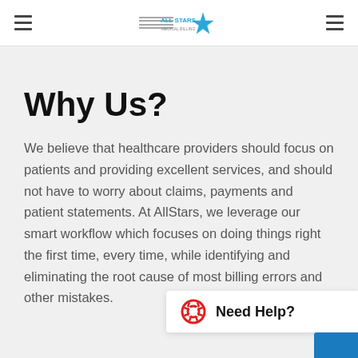All Stars Medical Billing – navigation header
Why Us?
We believe that healthcare providers should focus on patients and providing excellent services, and should not have to worry about claims, payments and patient statements. At AllStars, we leverage our smart workflow which focuses on doing things right the first time, every time, while identifying and eliminating the root cause of most billing errors and other mistakes.
[Figure (other): Need Help? widget with a life-saver icon and partial hand holding a pen image in the bottom right corner]